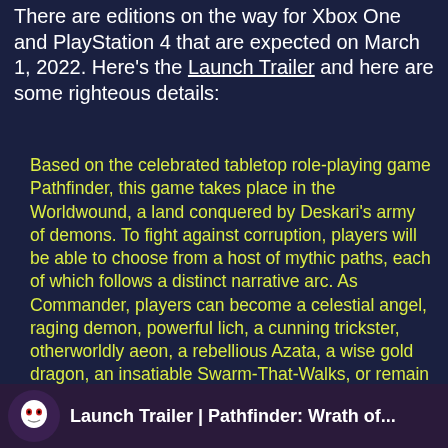There are editions on the way for Xbox One and PlayStation 4 that are expected on March 1, 2022. Here's the Launch Trailer and here are some righteous details:
Based on the celebrated tabletop role-playing game Pathfinder, this game takes place in the Worldwound, a land conquered by Deskari's army of demons. To fight against corruption, players will be able to choose from a host of mythic paths, each of which follows a distinct narrative arc. As Commander, players can become a celestial angel, raging demon, powerful lich, a cunning trickster, otherworldly aeon, a rebellious Azata, a wise gold dragon, an insatiable Swarm-That-Walks, or remain a mortal and walk the arduous path toward becoming a living legend.
The trailer showcases details about crusade mode, along with mounted combat and tactical combat game mechanics. Crusade mode enables players to select their general, change the size of their army, and explore the map of the world.
[Figure (screenshot): Thumbnail image for Launch Trailer | Pathfinder: Wrath of... with a stylized white skull/mask icon on a dark purple/fantasy background]